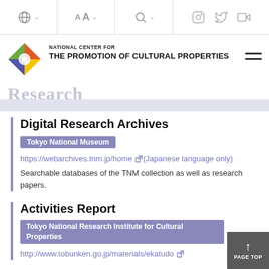Navigation bar with globe/language selector, font size control, search, Instagram, Twitter, YouTube icons
[Figure (logo): National Center for the Promotion of Cultural Properties logo — colorful diamond shape with circle]
NATIONAL CENTER FOR THE PROMOTION OF CULTURAL PROPERTIES
Research
Digital Research Archives
Tokyo National Museum
https://webarchives.tnm.jp/home (Japanese language only)
Searchable databases of the TNM collection as well as research papers.
Activities Report
Tokyo National Research Institute for Cultural Properties
http://www.tobunken.go.jp/materials/ekatudo